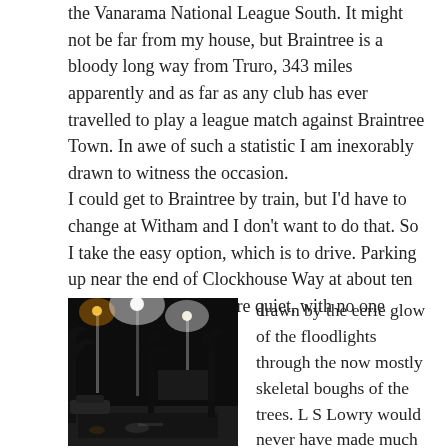the Vanarama National League South. It might not be far from my house, but Braintree is a bloody long way from Truro, 343 miles apparently and as far as any club has ever travelled to play a league match against Braintree Town. In awe of such a statistic I am inexorably drawn to witness the occasion.
I could get to Braintree by train, but I'd have to change at Witham and I don't want to do that. So I take the easy option, which is to drive. Parking up near the end of Clockhouse Way at about ten past seven, the streets are quiet, with no one heading for the match,
[Figure (photo): Night-time street scene showing floodlit football ground lights visible through bare tree branches, with a dark road and parked cars visible.]
drawn by the eerie glow of the floodlights through the now mostly skeletal boughs of the trees. L S Lowry would never have made much of his